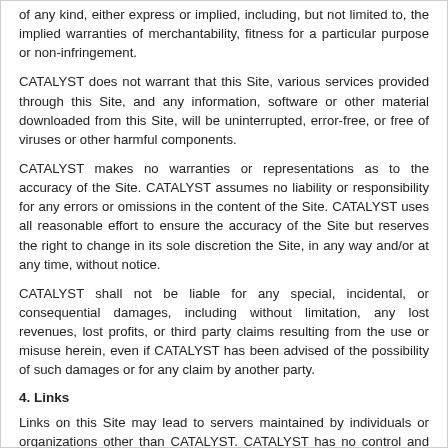of any kind, either express or implied, including, but not limited to, the implied warranties of merchantability, fitness for a particular purpose or non-infringement.
CATALYST does not warrant that this Site, various services provided through this Site, and any information, software or other material downloaded from this Site, will be uninterrupted, error-free, or free of viruses or other harmful components.
CATALYST makes no warranties or representations as to the accuracy of the Site. CATALYST assumes no liability or responsibility for any errors or omissions in the content of the Site. CATALYST uses all reasonable effort to ensure the accuracy of the Site but reserves the right to change in its sole discretion the Site, in any way and/or at any time, without notice.
CATALYST shall not be liable for any special, incidental, or consequential damages, including without limitation, any lost revenues, lost profits, or third party claims resulting from the use or misuse herein, even if CATALYST has been advised of the possibility of such damages or for any claim by another party.
4. Links
Links on this Site may lead to servers maintained by individuals or organizations other than CATALYST. CATALYST has no control and makes no warranties or representations as to the accuracy, timeliness, suitability or any other aspect of the information located on such servers, and neither monitors nor endorses such servers or content.
5. Submission of Personal Information